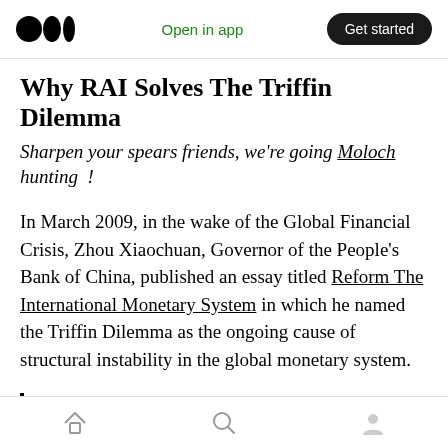Open in app | Get started
Why RAI Solves The Triffin Dilemma
Sharpen your spears friends, we’re going Moloch hunting  !
In March 2009, in the wake of the Global Financial Crisis, Zhou Xiaochuan, Governor of the People’s Bank of China, published an essay titled Reform The International Monetary System in which he named the Triffin Dilemma as the ongoing cause of structural instability in the global monetary system.
Issuing countries of reserve currencies are
Home | Search | Profile